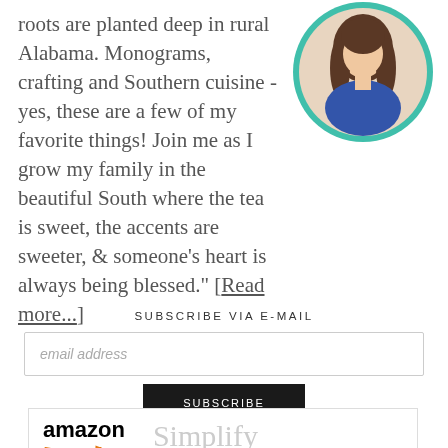roots are planted deep in rural Alabama. Monograms, crafting and Southern cuisine - yes, these are a few of my favorite things! Join me as I grow my family in the beautiful South where the tea is sweet, the accents are sweeter, & someone's heart is always being blessed." [Read more...]
[Figure (photo): Circular profile photo of a woman with long brown hair wearing a blue top, framed with a teal/green circular border]
SUBSCRIBE VIA E-MAIL
email address
SUBSCRIBE
[Figure (logo): Amazon logo with orange arrow underneath, alongside 'Simplify Each' text in light gray]